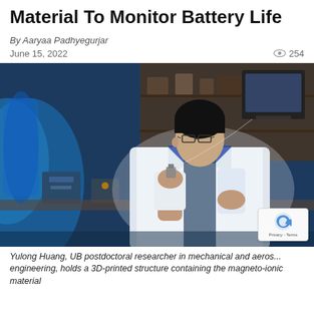Material To Monitor Battery Life
By Aaryaa Padhyegurjar
June 15, 2022   254
[Figure (photo): Yulong Huang, UB postdoctoral researcher in mechanical and aerospace engineering, wearing a white lab coat and glasses, holding a small 3D-printed structure up to examine it in a laboratory setting with blue lighting and equipment in the background.]
Yulong Huang, UB postdoctoral researcher in mechanical and aeros... engineering, holds a 3D-printed structure containing the magneto-ionic material